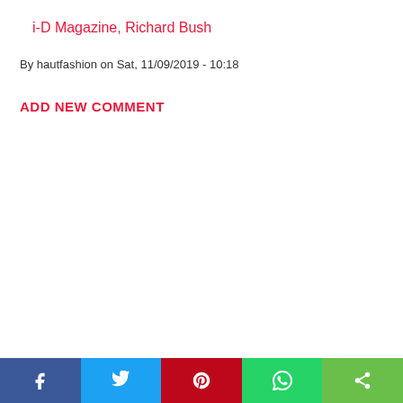i-D Magazine, Richard Bush
By hautfashion on Sat, 11/09/2019 - 10:18
ADD NEW COMMENT
Social sharing buttons: Facebook, Twitter, Pinterest, WhatsApp, Share